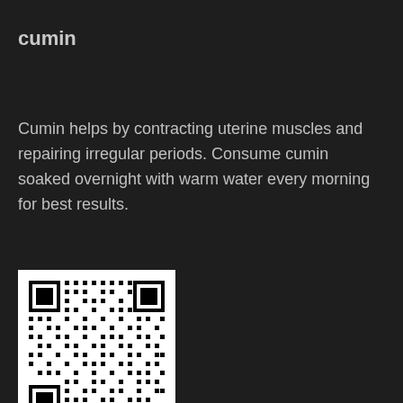cumin
Cumin helps by contracting uterine muscles and repairing irregular periods. Consume cumin soaked overnight with warm water every morning for best results.
[Figure (other): QR code image on white background]